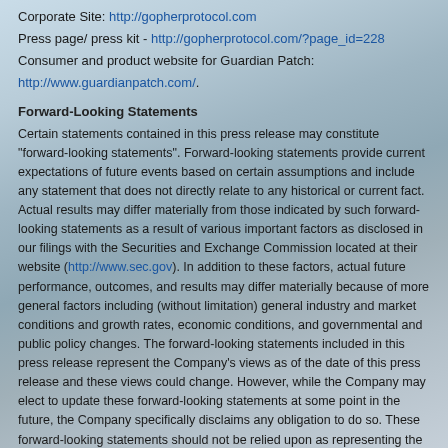Corporate Site: http://gopherprotocol.com
Press page/ press kit - http://gopherprotocol.com/?page_id=228
Consumer and product website for Guardian Patch: http://www.guardianpatch.com/.
Forward-Looking Statements
Certain statements contained in this press release may constitute "forward-looking statements".  Forward-looking statements provide current expectations of future events based on certain assumptions and include any statement that does not directly relate to any historical or current fact. Actual results may differ materially from those indicated by such forward-looking statements as a result of various important factors as disclosed in our filings with the Securities and Exchange Commission located at their website (http://www.sec.gov).  In addition to these factors, actual future performance, outcomes, and results may differ materially because of more general factors including (without limitation) general industry and market conditions and growth rates, economic conditions, and governmental and public policy changes.  The forward-looking statements included in this press release represent the Company's views as of the date of this press release and these views could change.  However, while the Company may elect to update these forward-looking statements at some point in the future, the Company specifically disclaims any obligation to do so.  These forward-looking statements should not be relied upon as representing the Company's views as of any date subsequent to the date of the press release.